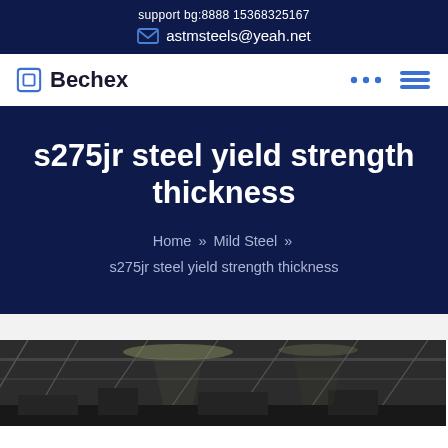support bg:8888 15368325167
astmsteels@yeah.net
Bechex
s275jr steel yield strength thickness
Home » Mild Steel » s275jr steel yield strength thickness
[Figure (photo): Interior of a steel manufacturing facility/mill with industrial structures and overhead lighting]